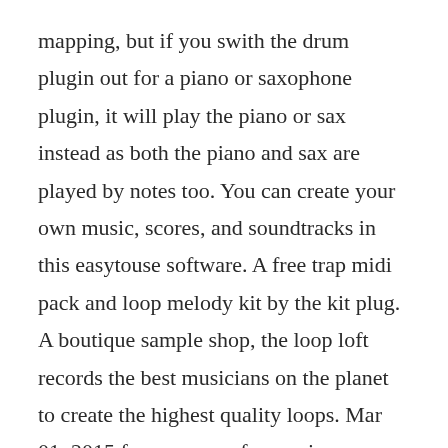mapping, but if you swith the drum plugin out for a piano or saxophone plugin, it will play the piano or sax instead as both the piano and sax are played by notes too. You can create your own music, scores, and soundtracks in this easytouse software. A free trap midi pack and loop melody kit by the kit plug. A boutique sample shop, the loop loft records the best musicians on the planet to create the highest quality loops. Mar 01, 2015 free resource for music producers free midi. If you use any of these drum loops please leave your